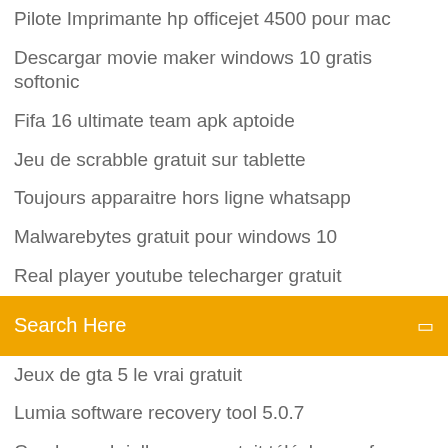Pilote Imprimante hp officejet 4500 pour mac
Descargar movie maker windows 10 gratis softonic
Fifa 16 ultimate team apk aptoide
Jeu de scrabble gratuit sur tablette
Toujours apparaitre hors ligne whatsapp
Malwarebytes gratuit pour windows 10
Real player youtube telecharger gratuit
Search Here
Jeux de gta 5 le vrai gratuit
Lumia software recovery tool 5.0.7
Candy crush jelly saga gratuit télécharger for pc
Install microsoft word 2019 free
Site anti plagiat en ligne gratuit
Telecharger paint windows 7 pour xp gratuit
Comment telecharger need for speed payback pc
Youtube mp3 telecharger musique gratuit
Import export tools mozilla thunderbird
Comment installer hello neighbor gratuitement sur pc